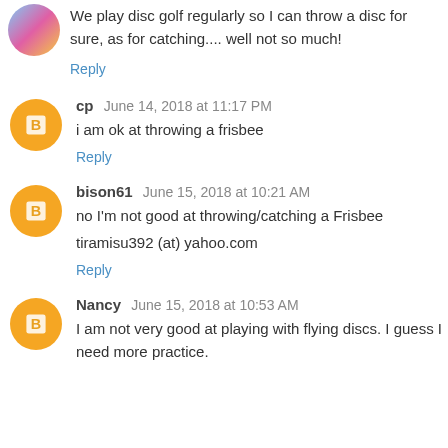We play disc golf regularly so I can throw a disc for sure, as for catching.... well not so much!
Reply
cp  June 14, 2018 at 11:17 PM
i am ok at throwing a frisbee
Reply
bison61  June 15, 2018 at 10:21 AM
no I'm not good at throwing/catching a Frisbee
tiramisu392 (at) yahoo.com
Reply
Nancy  June 15, 2018 at 10:53 AM
I am not very good at playing with flying discs. I guess I need more practice.